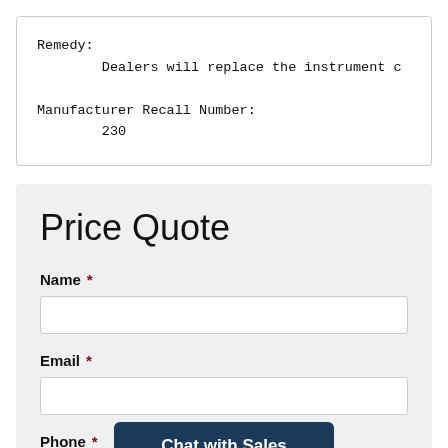Remedy:
        Dealers will replace the instrument c

Manufacturer Recall Number:
        230
Price Quote
Name *
Email *
Phone *
Chat with Sales